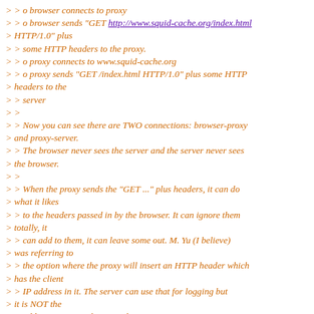> > o browser connects to proxy
> > o browser sends "GET http://www.squid-cache.org/index.html HTTP/1.0" plus
> > some HTTP headers to the proxy.
> > o proxy connects to www.squid-cache.org
> > o proxy sends "GET /index.html HTTP/1.0" plus some HTTP headers to the
> > server
> >
> > Now you can see there are TWO connections: browser-proxy and proxy-server.
> > The browser never sees the server and the server never sees the browser.
> >
> > When the proxy sends the "GET ..." plus headers, it can do what it likes
> > to the headers passed in by the browser. It can ignore them totally, it
> > can add to them, it can leave some out. M. Yu (I believe) was referring to
> > the option where the proxy will insert an HTTP header which has the client
> > IP address in it. The server can use that for logging but it is NOT the
> > address it sees in the IP packets.